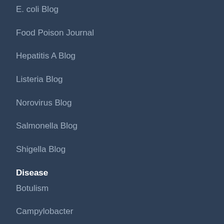E. coli Blog
Food Poison Journal
Hepatitis A Blog
Listeria Blog
Norovirus Blog
Salmonella Blog
Shigella Blog
Disease
Botulism
Campylobacter
Cyclospora
E. coli